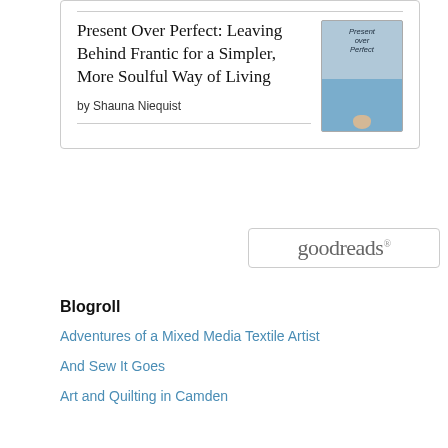[Figure (other): Book widget with cover image of 'Present Over Perfect' showing beach/ocean scene, inside a bordered card with Goodreads branding]
Present Over Perfect: Leaving Behind Frantic for a Simpler, More Soulful Way of Living
by Shauna Niequist
Blogroll
Adventures of a Mixed Media Textile Artist
And Sew It Goes
Art and Quilting in Camden